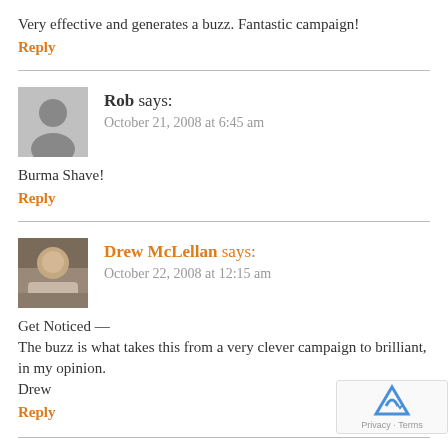Very effective and generates a buzz. Fantastic campaign!
Reply
Rob says:
October 21, 2008 at 6:45 am
Burma Shave!
Reply
Drew McLellan says:
October 22, 2008 at 12:15 am
Get Noticed —
The buzz is what takes this from a very clever campaign to brilliant, in my opinion.
Drew
Reply